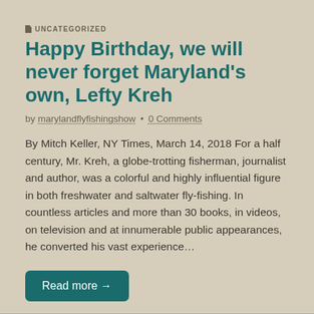UNCATEGORIZED
Happy Birthday, we will never forget Maryland's own, Lefty Kreh
by marylandflyfishingshow • 0 Comments
By Mitch Keller, NY Times, March 14, 2018 For a half century, Mr. Kreh, a globe-trotting fisherman, journalist and author, was a colorful and highly influential figure in both freshwater and saltwater fly-fishing. In countless articles and more than 30 books, in videos, on television and at innumerable public appearances, he converted his vast experience…
Read more →